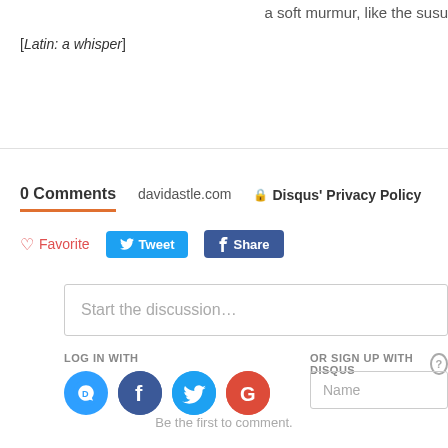a soft murmur, like the susu…
[Latin: a whisper]
0 Comments   davidastle.com   🔒 Disqus' Privacy Policy
♡ Favorite   Tweet   f Share
Start the discussion…
LOG IN WITH
OR SIGN UP WITH DISQUS ?
Name
Be the first to comment.